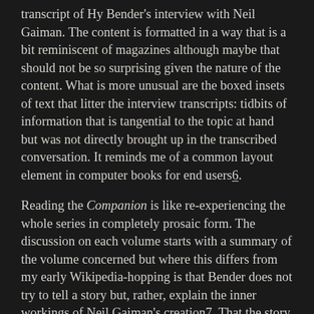transcript of Hy Bender's interview with Neil Gaiman. The content is formatted in a way that is a bit reminiscent of magazines although maybe that should not be so surprising given the nature of the content. What is more unusual are the boxed insets of text that litter the interview transcripts: tidbits of information that is tangential to the topic at hand but was not directly brought up in the transcribed conversation. It reminds me of a common layout element in computer books for end users6.
Reading the Companion is like re-experiencing the whole series in completely prosaic form. The discussion on each volume starts with a summary of the volume concerned but where this differs from my early Wikipedia-hopping is that Bender does not try to tell a story but, rather, explain the inner workings of Neil Gaiman's creation7. That the story is told in some way nevertheless is a mere side-